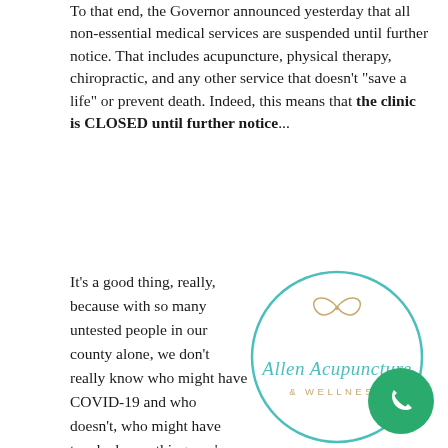To that end, the Governor announced yesterday that all non-essential medical services are suspended until further notice. That includes acupuncture, physical therapy, chiropractic, and any other service that doesn't "save a life" or prevent death. Indeed, this means that the clinic is CLOSED until further notice...
It's a good thing, really, because with so many untested people in our county alone, we don't really know who might have COVID-19 and who doesn't, who might have touched something you're touching or coughed in the hallway before you came into the building...? It is MUCH safer for everyone to stay home.
[Figure (logo): Allen Acupuncture & Wellness circular logo with teal circle border, a small leaf/wing icon at the top, teal cursive text 'Allen Acupuncture' and gold uppercase text '& WELLNESS']